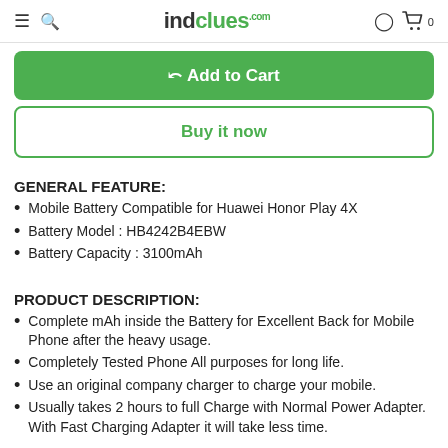indclues
Add to Cart
Buy it now
GENERAL FEATURE:
Mobile Battery Compatible for Huawei Honor Play 4X
Battery Model : HB4242B4EBW
Battery Capacity : 3100mAh
PRODUCT DESCRIPTION:
Complete mAh inside the Battery for Excellent Back for Mobile Phone after the heavy usage.
Completely Tested Phone All purposes for long life.
Use an original company charger to charge your mobile.
Usually takes 2 hours to full Charge with Normal Power Adapter. With Fast Charging Adapter it will take less time.